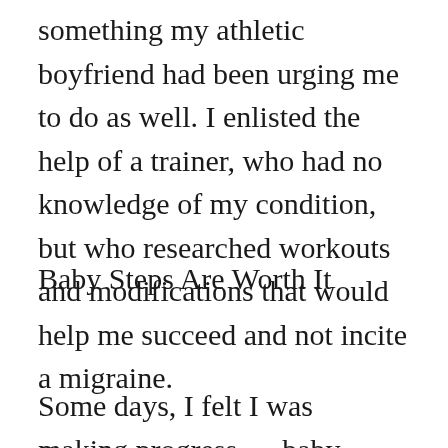something my athletic boyfriend had been urging me to do as well. I enlisted the help of a trainer, who had no knowledge of my condition, but who researched workouts and modifications that would help me succeed and not incite a migraine.
Baby Steps Are Worth It
Some days, I felt I was making progress … baby